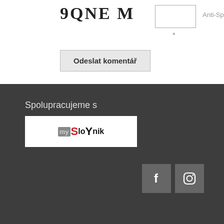[Figure (other): CAPTCHA image showing stylized text '9QNE M' in gothic/serif font]
Anti-Spam
*
Odeslat komentář
Spolupracujeme s
[Figure (logo): MySlovnik logo - stylized text logo with 'my' in grey block, 'S' in red, 'loYnik' in black on white background]
[Figure (other): Facebook icon - white 'f' letter on grey square button]
[Figure (other): Instagram icon - white camera outline on grey square button]